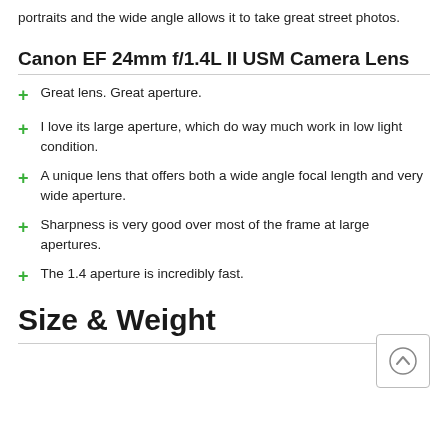portraits and the wide angle allows it to take great street photos.
Canon EF 24mm f/1.4L II USM Camera Lens
Great lens. Great aperture.
I love its large aperture, which do way much work in low light condition.
A unique lens that offers both a wide angle focal length and very wide aperture.
Sharpness is very good over most of the frame at large apertures.
The 1.4 aperture is incredibly fast.
Size & Weight